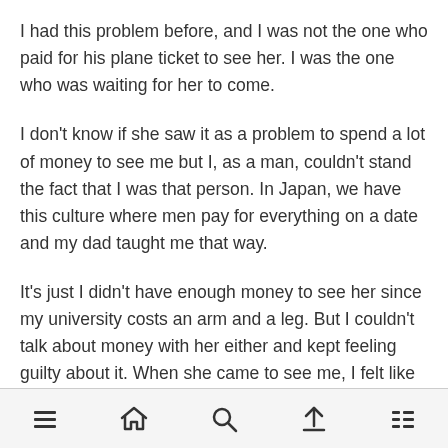I had this problem before, and I was not the one who paid for his plane ticket to see her. I was the one who was waiting for her to come.
I don't know if she saw it as a problem to spend a lot of money to see me but I, as a man, couldn't stand the fact that I was that person. In Japan, we have this culture where men pay for everything on a date and my dad taught me that way.
It's just I didn't have enough money to see her since my university costs an arm and a leg. But I couldn't talk about money with her either and kept feeling guilty about it. When she came to see me, I felt like it was my turn to do
navigation bar with menu, home, search, upload, and list icons